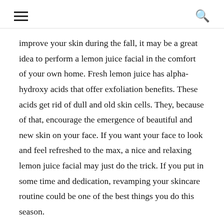improve your skin during the fall, it may be a great idea to perform a lemon juice facial in the comfort of your own home. Fresh lemon juice has alpha-hydroxy acids that offer exfoliation benefits. These acids get rid of dull and old skin cells. They, because of that, encourage the emergence of beautiful and new skin on your face. If you want your face to look and feel refreshed to the max, a nice and relaxing lemon juice facial may just do the trick. If you put in some time and dedication, revamping your skincare routine could be one of the best things you do this season.